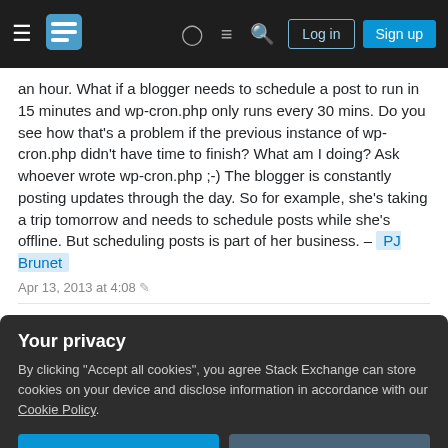Stack Exchange navigation bar with Log in and Sign up buttons
an hour. What if a blogger needs to schedule a post to run in 15 minutes and wp-cron.php only runs every 30 mins. Do you see how that's a problem if the previous instance of wp-cron.php didn't have time to finish? What am I doing? Ask whoever wrote wp-cron.php ;-) The blogger is constantly posting updates through the day. So for example, she's taking a trip tomorrow and needs to schedule posts while she's offline. But scheduling posts is part of her business. – PJ Brunet Apr 13, 2013 at 4:08
@s_ha_dum "pretty broad and open-ended" I was just thinking the same thing about wp-cron.php. There doesn't seem to be any standard recommended way to
Your privacy
By clicking "Accept all cookies", you agree Stack Exchange can store cookies on your device and disclose information in accordance with our Cookie Policy.
Accept all cookies
Customize settings
has elapsed the job runs. That is the default